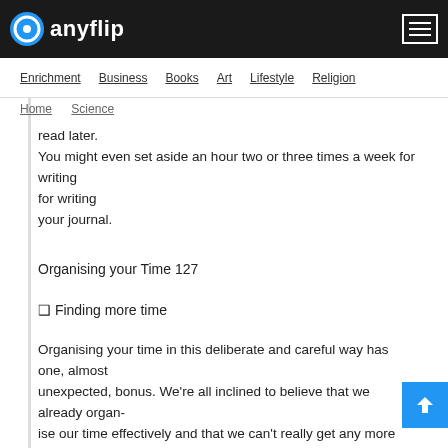anyflip
Enrichment  Business  Books  Art  Lifestyle  Religion
Home  Science
read later.
You might even set aside an hour two or three times a week for writing
your journal.
Organising your Time 127
❑ Finding more time
Organising your time in this deliberate and careful way has one, almost
unexpected, bonus. We're all inclined to believe that we already organ-
ise our time effectively and that we can't really get any more out of
ourselves. We seem to work long hours, we make sacrifices